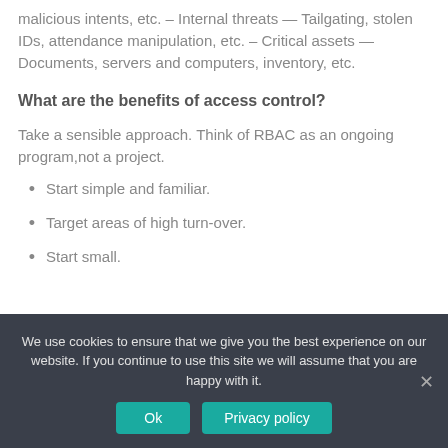malicious intents, etc. – Internal threats — Tailgating, stolen IDs, attendance manipulation, etc. – Critical assets — Documents, servers and computers, inventory, etc.
What are the benefits of access control?
Take a sensible approach. Think of RBAC as an ongoing program,not a project.
Start simple and familiar.
Target areas of high turn-over.
Start small.
We use cookies to ensure that we give you the best experience on our website. If you continue to use this site we will assume that you are happy with it.
Ok   Privacy policy